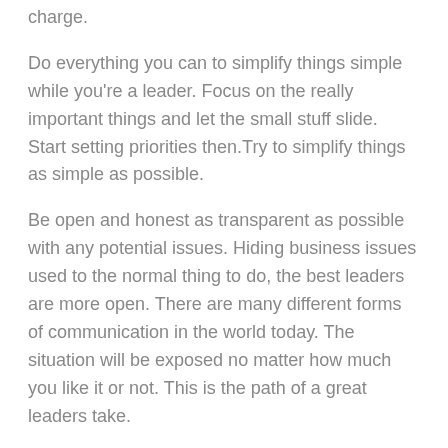charge.
Do everything you can to simplify things simple while you're a leader. Focus on the really important things and let the small stuff slide. Start setting priorities then. Try to simplify things as simple as possible.
Be open and honest as transparent as possible with any potential issues. Hiding business issues used to the normal thing to do, the best leaders are more open. There are many different forms of communication in the world today. The situation will be exposed no matter how much you like it or not. This is the path of a great leaders take.
Tenacity is a characteristic of successful leaders. When things don't go as planned, the team will look to you for direction. You should focus on a positive outcome rather than any obstacles that may be in the goal whatever obstacles stand in the way. Your persistence as a